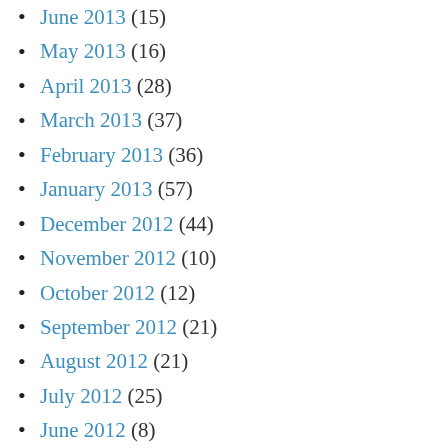June 2013 (15)
May 2013 (16)
April 2013 (28)
March 2013 (37)
February 2013 (36)
January 2013 (57)
December 2012 (44)
November 2012 (10)
October 2012 (12)
September 2012 (21)
August 2012 (21)
July 2012 (25)
June 2012 (8)
May 2012 (10)
April 2012 (11)
March 2012 (10)
February 2012 (11)